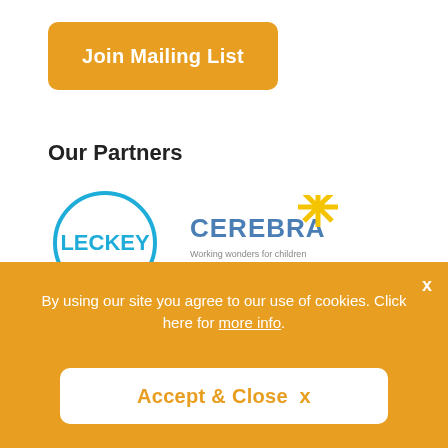[Figure (other): Orange rounded-rectangle button with white bold text 'Join Mailing List']
Our Partners
[Figure (logo): Leckey logo: blue circle outline with blue text LECKEY inside]
[Figure (logo): Cerebra logo: blue text CEREBRA with yellow star and tagline 'Working wonders for children']
By using our site you agree to our use of cookies. Click here for more info.
[Figure (other): White rounded-rectangle button with orange bold text 'Accept & Close ×']